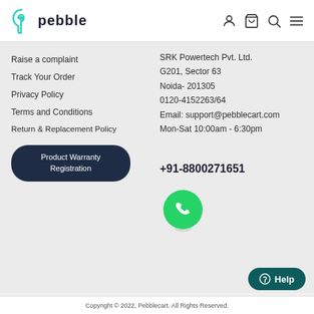pebble
Raise a complaint
Track Your Order
Privacy Policy
Terms and Conditions
Return & Replacement Policy
Product Warranty Registration
SRK Powertech Pvt. Ltd.
G201, Sector 63
Noida- 201305
0120-4152263/64
Email: support@pebblecart.com
Mon-Sat 10:00am - 6:30pm
+91-8800271651
[Figure (logo): WhatsApp logo icon - green circle with phone handset]
Help
Copyright © 2022, Pebblecart. All Rights Reserved.